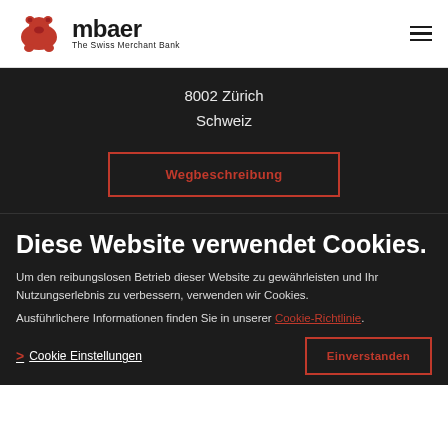[Figure (logo): mbaer bank logo with red bear icon and text 'mbaer The Swiss Merchant Bank']
8002 Zürich
Schweiz
Wegbeschreibung
Diese Website verwendet Cookies.
Um den reibungslosen Betrieb dieser Website zu gewährleisten und Ihr Nutzungserlebnis zu verbessern, verwenden wir Cookies.
Ausführlichere Informationen finden Sie in unserer Cookie-Richtlinie.
> Cookie Einstellungen
Einverstanden